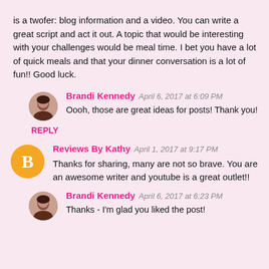is a twofer: blog information and a video. You can write a great script and act it out. A topic that would be interesting with your challenges would be meal time. I bet you have a lot of quick meals and that your dinner conversation is a lot of fun!! Good luck.
Brandi Kennedy April 6, 2017 at 6:09 PM
Oooh, those are great ideas for posts! Thank you!
REPLY
Reviews By Kathy April 1, 2017 at 9:17 PM
Thanks for sharing, many are not so brave. You are an awesome writer and youtube is a great outlet!!
Brandi Kennedy April 6, 2017 at 6:23 PM
Thanks - I'm glad you liked the post!